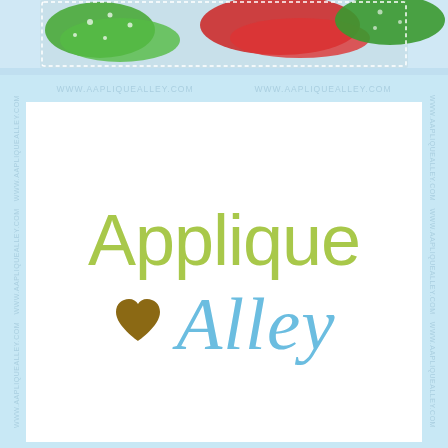[Figure (photo): Photo strip at top showing colorful ribbons and bows in red and green colors with polka dot patterns, holiday/Christmas themed]
[Figure (logo): Applique Alley logo. 'Applique' in large yellow-green sans-serif text, below it a brown heart icon followed by 'Alley' in light blue cursive/script text. Watermark text 'www.aapliquealley.com' repeated on borders in light blue.]